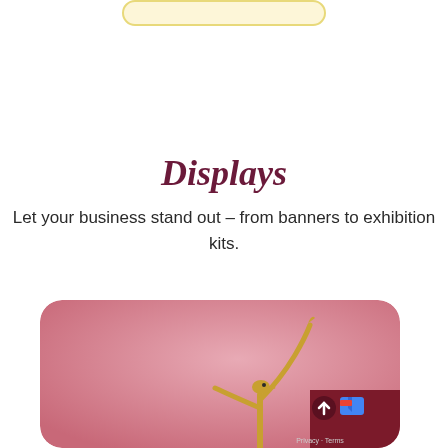[Figure (other): Partial view of a rounded button with light yellow background and yellow border at the top of the page]
Displays
Let your business stand out – from banners to exhibition kits.
[Figure (illustration): Pink rounded card with a cartoon stick-figure character with a bird-like head, one arm extended upward, on a pink gradient background. A dark maroon overlay widget with an up arrow and Privacy/Terms text appears at bottom right.]